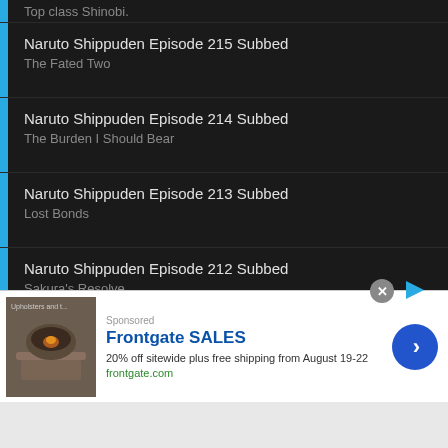Naruto Shippuden Episode 215 Subbed
The Fated Two
Naruto Shippuden Episode 214 Subbed
The Burden I Should Bear
Naruto Shippuden Episode 213 Subbed
Lost Bonds
Naruto Shippuden Episode 212 Subbed
Sakura's Resolve
Naruto Shippuden Episode 211 Subbed
Shimura Danzou
Naruto Shippuden Episode 210 Subbed (partial)
[Figure (screenshot): Frontgate SALES advertisement banner: 20% off sitewide plus free shipping from August 19-22, frontgate.com, with outdoor furniture image and blue chevron button]